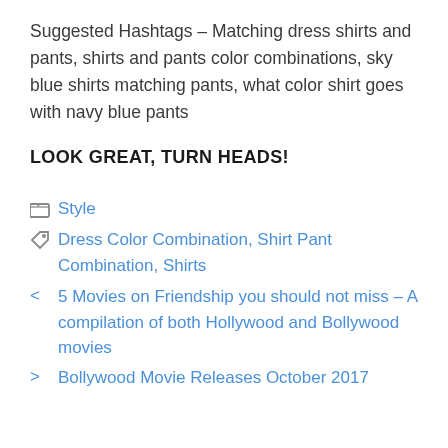Suggested Hashtags – Matching dress shirts and pants, shirts and pants color combinations, sky blue shirts matching pants, what color shirt goes with navy blue pants
LOOK GREAT, TURN HEADS!
Style
Dress Color Combination, Shirt Pant Combination, Shirts
< 5 Movies on Friendship you should not miss – A compilation of both Hollywood and Bollywood movies
> Bollywood Movie Releases October 2017